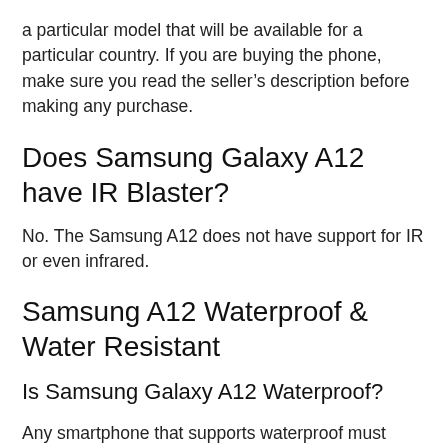a particular model that will be available for a particular country. If you are buying the phone, make sure you read the seller's description before making any purchase.
Does Samsung Galaxy A12 have IR Blaster?
No. The Samsung A12 does not have support for IR or even infrared.
Samsung A12 Waterproof & Water Resistant
Is Samsung Galaxy A12 Waterproof?
Any smartphone that supports waterproof must comes with an IP68 rating. However, on the Samsung A12 the device has no IP68 rating. S…